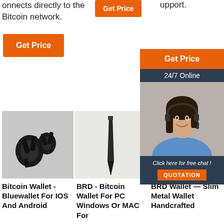onnects directly to the Bitcoin network.
upport.
[Figure (other): Orange Get Price button (top center)]
[Figure (other): Orange Get Price button (left)]
[Figure (other): Chat widget with Get Price button, 24/7 Online bar, woman with headset photo, Click here for free chat!, QUOTATION button]
[Figure (photo): Dark metal mechanical parts (Bitcoin wallet hardware)]
[Figure (photo): Dark metal spike/chisel tool on light background]
[Figure (photo): Partial product image (third product)]
Bitcoin Wallet - Bluewallet For IOS And Android
BRD - Bitcoin Wallet For PC Windows Or MAC For
BRD Wallet — Slim Metal Wallet Handcrafted